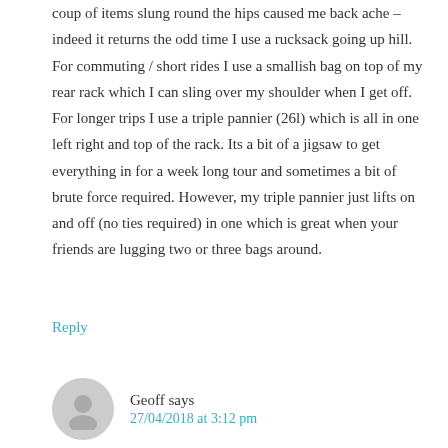coup of items slung round the hips caused me back ache – indeed it returns the odd time I use a rucksack going up hill. For commuting / short rides I use a smallish bag on top of my rear rack which I can sling over my shoulder when I get off. For longer trips I use a triple pannier (26l) which is all in one left right and top of the rack. Its a bit of a jigsaw to get everything in for a week long tour and sometimes a bit of brute force required. However, my triple pannier just lifts on and off (no ties required) in one which is great when your friends are lugging two or three bags around.
Reply
Geoff says
27/04/2018 at 3:12 pm